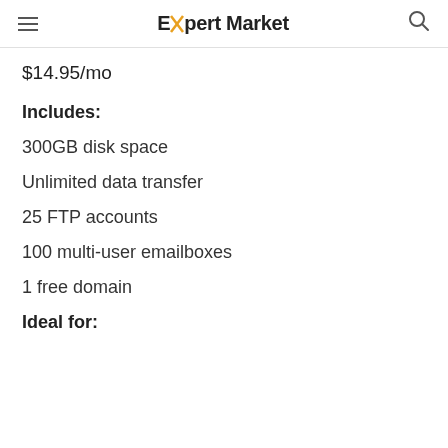Expert Market
$14.95/mo
Includes:
300GB disk space
Unlimited data transfer
25 FTP accounts
100 multi-user emailboxes
1 free domain
Ideal for: